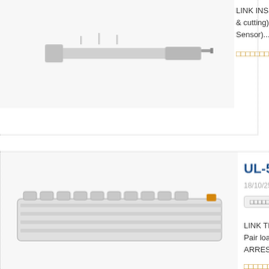[Figure (photo): Partial product image at top of page, appears to be a cable/wire insertion tool]
LINK INSERT... & cutting) (... Sensor)...
อ่านเพิ่มเติม
UL-5411
18/10/2556
อุปกรณ์โทรคมนาคม
LINK TELEPH... Pair load with ARRESTER (D...
อ่านเพิ่มเติม
[Figure (photo): LINK telephone product UL-5411, grey elongated device with multiple connectors]
UL-5317
18/10/2556
อุปกรณ์โทรคมนาคม
LINK 3 pole A... 5A/5KA with fa... OES 002 001... KA)
[Figure (photo): LINK 3 pole arrester product UL-5317, metallic surge protection devices]